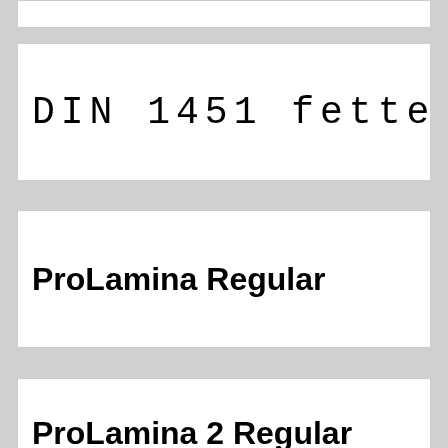[Figure (other): Partial card at top, cropped white rectangle with border]
DIN 1451 fette E
ProLamina Regular
ProLamina 2 Regular